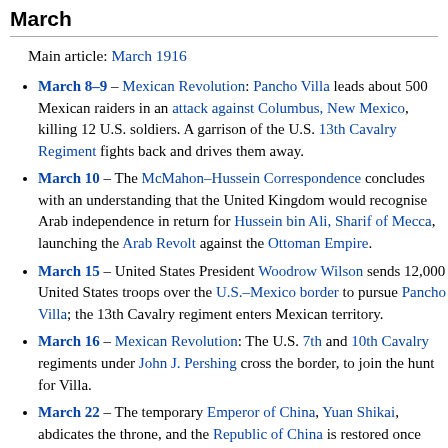March
Main article: March 1916
March 8–9 – Mexican Revolution: Pancho Villa leads about 500 Mexican raiders in an attack against Columbus, New Mexico, killing 12 U.S. soldiers. A garrison of the U.S. 13th Cavalry Regiment fights back and drives them away.
March 10 – The McMahon–Hussein Correspondence concludes with an understanding that the United Kingdom would recognise Arab independence in return for Hussein bin Ali, Sharif of Mecca, launching the Arab Revolt against the Ottoman Empire.
March 15 – United States President Woodrow Wilson sends 12,000 United States troops over the U.S.–Mexico border to pursue Pancho Villa; the 13th Cavalry regiment enters Mexican territory.
March 16 – Mexican Revolution: The U.S. 7th and 10th Cavalry regiments under John J. Pershing cross the border, to join the hunt for Villa.
March 22 – The temporary Emperor of China, Yuan Shikai, abdicates the throne, and the Republic of China is restored once again.
March 24 – French ferry SS Sussex is torpedoed by SM UB-29 in the English Channel, with at least 50 killed (including